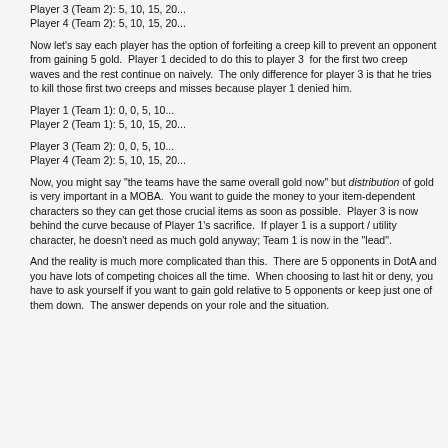Player 3 (Team 2): 5, 10, 15, 20...
Player 4 (Team 2): 5, 10, 15, 20...
Now let's say each player has the option of forfeiting a creep kill to prevent an opponent from gaining 5 gold.  Player 1 decided to do this to player 3  for the first two creep waves and the rest continue on naively.  The only difference for player 3 is that he tries to kill those first two creeps and misses because player 1 denied him.
Player 1 (Team 1): 0, 0, 5, 10...
Player 2 (Team 1): 5, 10, 15, 20...
Player 3 (Team 2): 0, 0, 5, 10...
Player 4 (Team 2): 5, 10, 15, 20...
Now, you might say "the teams have the same overall gold now" but distribution of gold is very important in a MOBA.  You want to guide the money to your item-dependent characters so they can get those crucial items as soon as possible.  Player 3 is now behind the curve because of Player 1's sacrifice.  If player 1 is a support / utility character, he doesn't need as much gold anyway; Team 1 is now in the "lead".
And the reality is much more complicated than this.  There are 5 opponents in DotA and you have lots of competing choices all the time.  When choosing to last hit or deny, you have to ask yourself if you want to gain gold relative to 5 opponents or keep just one of them down.  The answer depends on your role and the situation.